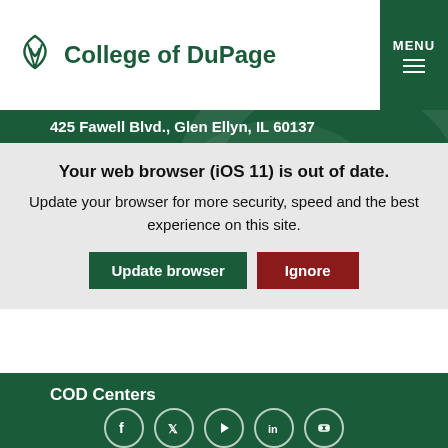[Figure (logo): College of DuPage logo with green flame/leaf icon and text 'College of DuPage']
MENU
425 Fawell Blvd., Glen Ellyn, IL 60137
Your web browser (iOS 11) is out of date. Update your browser for more security, speed and the best experience on this site.
Update browser
Ignore
Apply
Map & Directions
Directory
Campus Hours
COD Centers
[Figure (infographic): Social media icons: Facebook, Twitter, YouTube, LinkedIn, Flickr in white circles on dark green background]